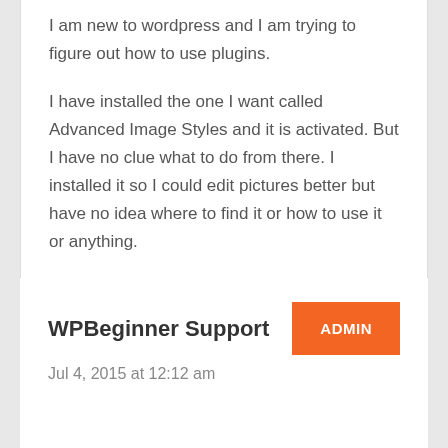I am new to wordpress and I am trying to figure out how to use plugins.
I have installed the one I want called Advanced Image Styles and it is activated. But I have no clue what to do from there. I installed it so I could edit pictures better but have no idea where to find it or how to use it or anything.
I'd love some help. Thank you in advance.
Reply ↵
WPBeginner Support
ADMIN
Jul 4, 2015 at 12:12 am